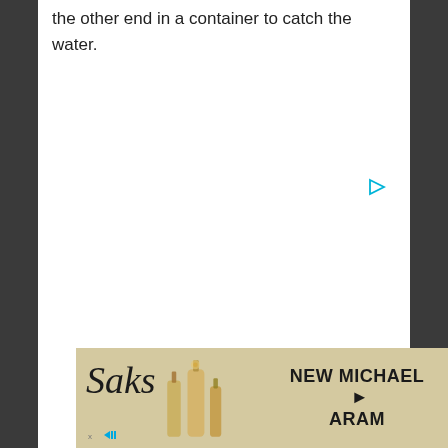the other end in a container to catch the water.
[Figure (other): Small cyan/teal play button triangle icon positioned in the upper right area of the white content area]
[Figure (other): Saks Fifth Avenue advertisement banner with gold/tan background showing Saks cursive logo, decorative bottles, and text 'NEW MICHAEL ARAM' with arrow. AdChoices icon visible at bottom left.]